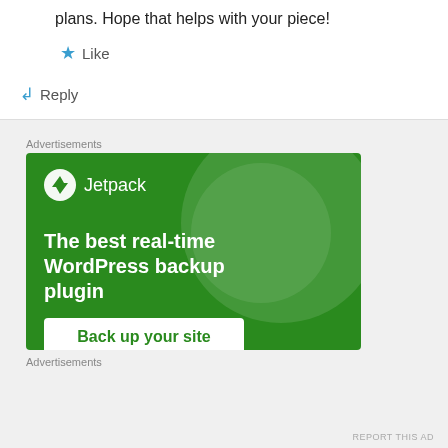plans. Hope that helps with your piece!
Like
Reply
Advertisements
[Figure (screenshot): Jetpack advertisement banner with green background showing 'The best real-time WordPress backup plugin' and a 'Back up your site' button]
Advertisements